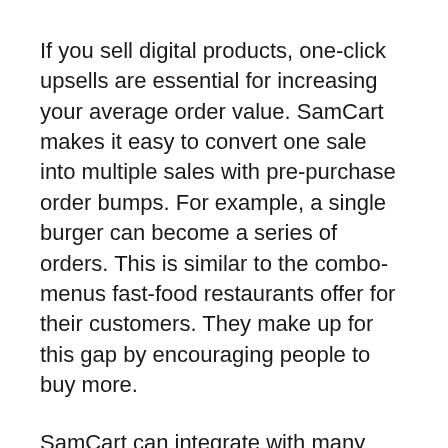If you sell digital products, one-click upsells are essential for increasing your average order value. SamCart makes it easy to convert one sale into multiple sales with pre-purchase order bumps. For example, a single burger can become a series of orders. This is similar to the combo-menus fast-food restaurants offer for their customers. They make up for this gap by encouraging people to buy more.
SamCart can integrate with many third-party apps, in addition to incorporating the most common payment methods. It can automate tasks, automate marketing strategies, and track customer behavior. It also offers a comprehensive knowledge base for